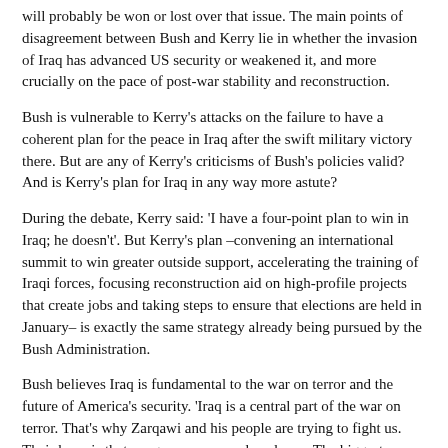will probably be won or lost over that issue. The main points of disagreement between Bush and Kerry lie in whether the invasion of Iraq has advanced US security or weakened it, and more crucially on the pace of post-war stability and reconstruction.
Bush is vulnerable to Kerry's attacks on the failure to have a coherent plan for the peace in Iraq after the swift military victory there. But are any of Kerry's criticisms of Bush's policies valid? And is Kerry's plan for Iraq in any way more astute?
During the debate, Kerry said: 'I have a four-point plan to win in Iraq; he doesn't'. But Kerry's plan –convening an international summit to win greater outside support, accelerating the training of Iraqi forces, focusing reconstruction aid on high-profile projects that create jobs and taking steps to ensure that elections are held in January– is exactly the same strategy already being pursued by the Bush Administration.
Bush believes Iraq is fundamental to the war on terror and the future of America's security. 'Iraq is a central part of the war on terror. That's why Zarqawi and his people are trying to fight us. Their hope is that we grow weary and we leave. The biggest disaster that could happen is that we not succeed in Iraq', Bush said.
Kerry, on the other hand, tried to de-link the war in Iraq from the